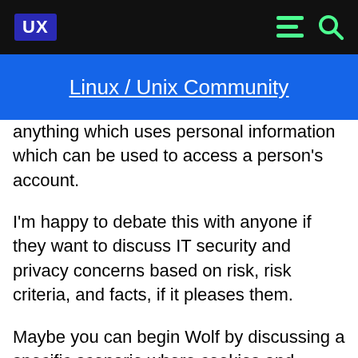UX
Linux / Unix Community
anything which uses personal information which can be used to access a person's account.
I'm happy to debate this with anyone if they want to discuss IT security and privacy concerns based on risk, risk criteria, and facts, if it pleases them.
Maybe you can begin Wolf by discussing a specific scenario where cookies and caching on a personal computer puts a person at risk and what the risk it and how that risk profile is